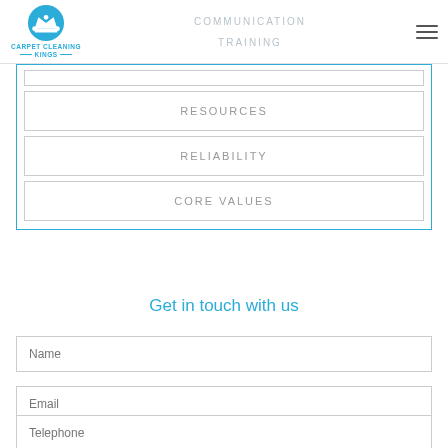[Figure (logo): Carpet Cleaning Kings logo with blue crown icon and text]
COMMUNICATION
TRAINING
RESOURCES
RELIABILITY
CORE VALUES
Get in touch with us
Name
Email
Telephone